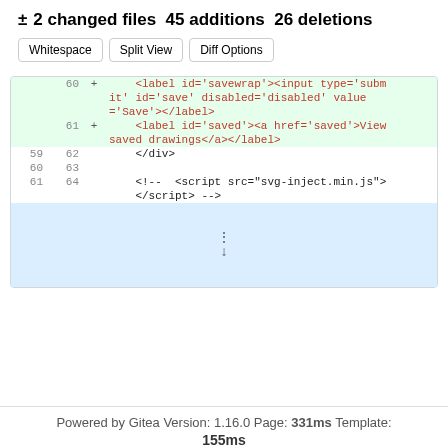± 2 changed files 45 additions 26 deletions
Whitespace | Split View | Diff Options
[Figure (screenshot): Code diff view showing added HTML lines 60-61 (label elements) and unchanged lines 59-64 (div close, blank, and script comment), with an expand rows button at the bottom]
Powered by Gitea Version: 1.16.0 Page: 331ms Template: 155ms